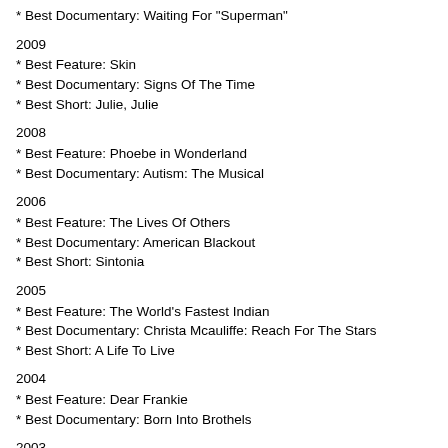* Best Documentary: Waiting For "Superman"
2009
* Best Feature: Skin
* Best Documentary: Signs Of The Time
* Best Short: Julie, Julie
2008
* Best Feature: Phoebe in Wonderland
* Best Documentary: Autism: The Musical
2006
* Best Feature: The Lives Of Others
* Best Documentary: American Blackout
* Best Short: Sintonia
2005
* Best Feature: The World's Fastest Indian
* Best Documentary: Christa Mcauliffe: Reach For The Stars
* Best Short: A Life To Live
2004
* Best Feature: Dear Frankie
* Best Documentary: Born Into Brothels
2003
* Best Feature: In America
* Best Documentary: My Architect
2002
* Best Feature: Nowhere In Africa